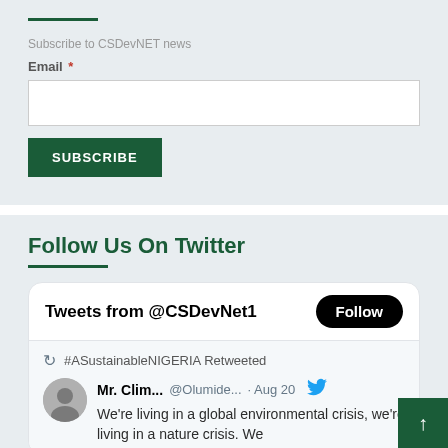Subscribe to CSDevNET news
Email *
Follow Us On Twitter
[Figure (screenshot): Twitter widget showing tweets from @CSDevNet1 with a Follow button, and a retweet from #ASustainableNIGERIA by Mr. Clim... @Olumide... Aug 20 saying 'We're living in a global environmental crisis, we're living in a nature crisis. We']